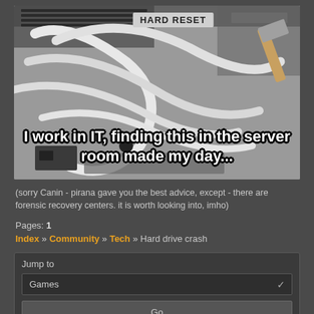[Figure (photo): A photo of tangled white cables/cords in a server room with a silver hammer visible. A label reading 'HARD RESET' is visible at the top. Meme text overlay reads: 'I work in IT, finding this in the server room made my day...']
(sorry Canin - pirana gave you the best advice, except - there are forensic recovery centers. it is worth looking into, imho)
Pages: 1
Index » Community » Tech » Hard drive crash
Jump to
Games
Go